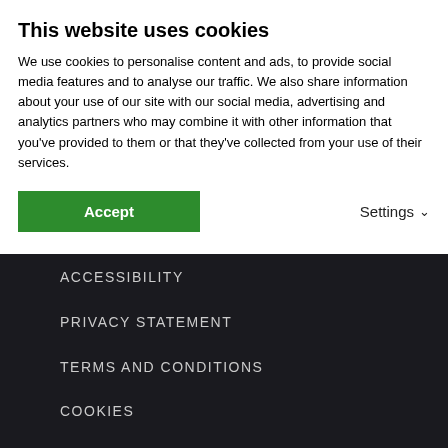This website uses cookies
We use cookies to personalise content and ads, to provide social media features and to analyse our traffic. We also share information about your use of our site with our social media, advertising and analytics partners who may combine it with other information that you've provided to them or that they've collected from your use of their services.
Accept
Settings
[Figure (logo): GS TV logo in dark background area]
ACCESSIBILITY
PRIVACY STATEMENT
TERMS AND CONDITIONS
COOKIES